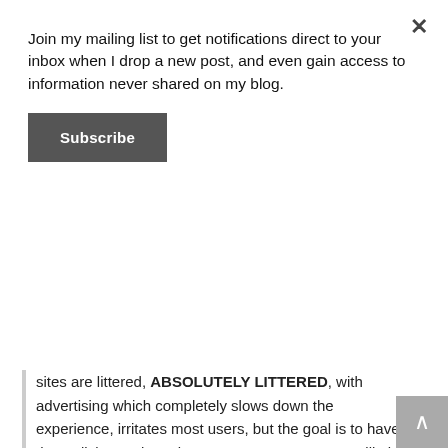Join my mailing list to get notifications direct to your inbox when I drop a new post, and even gain access to information never shared on my blog.
Subscribe
sites are littered, ABSOLUTELY LITTERED, with advertising which completely slows down the experience, irritates most users, but the goal is to have them click on ads and generate revenue. Some will also run their own affiliate campaigns, depending on what yields the highest returns for them, but from what I see mostly is clickbait ads being purchased on social/native advertising networks, which lead to a clickbait article and the goal is to spend peanuts on clicks and yield a high enough RPU (revenue per user) to be profitable. Some examples of sites that are quite big are viralbuzz.com, elitedaily.com and littlethings.com